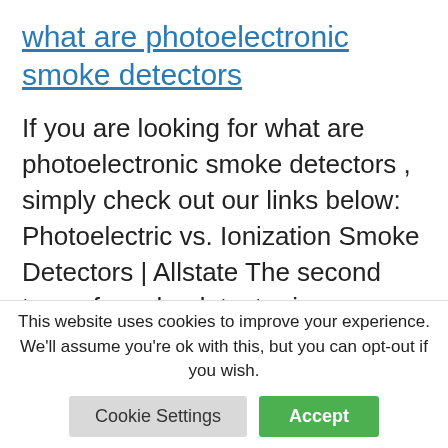what are photoelectronic smoke detectors
If you are looking for what are photoelectronic smoke detectors , simply check out our links below: Photoelectric vs. Ionization Smoke Detectors | Allstate The second type of smoke detector is photoelectric, which uses a light beam to help detect the presence of smoke. According to NFPA, these alarm types
This website uses cookies to improve your experience. We'll assume you're ok with this, but you can opt-out if you wish.
Cookie Settings  Accept